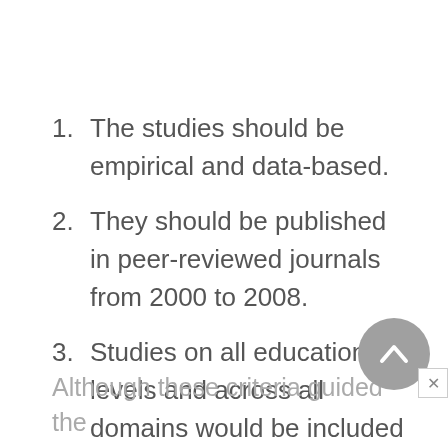1. The studies should be empirical and data-based.
2. They should be published in peer-reviewed journals from 2000 to 2008.
3. Studies on all educational levels and across all domains would be included to broaden the scope.
Although these criteria guided the